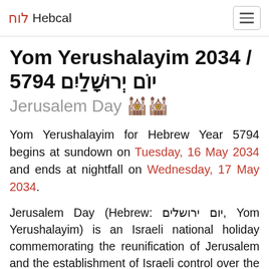לוח Hebcal
Yom Yerushalayim 2034 / 5794 יוֹם יְרוּשָׁלַיִם
Jerusalem Day 🕍🕍
Yom Yerushalayim for Hebrew Year 5794 begins at sundown on Tuesday, 16 May 2034 and ends at nightfall on Wednesday, 17 May 2034.
Jerusalem Day (Hebrew: יום ירושלים, Yom Yerushalayim) is an Israeli national holiday commemorating the reunification of Jerusalem and the establishment of Israeli control over the Old City in June 1967. The Chief Rabbinate of Israel declared Jerusalem Day a minor religious holiday to thank G-d